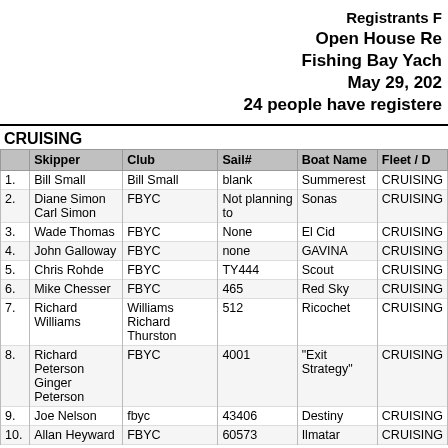Registrants F Open House Re Fishing Bay Yach May 29, 202 24 people have registere
CRUISING
|  | Skipper | Club | Sail# | Boat Name | Fleet / D |
| --- | --- | --- | --- | --- | --- |
| 1. | Bill Small | Bill Small | blank | Summerest | CRUISING |
| 2. | Diane Simon
Carl Simon | FBYC | Not planning to | Sonas | CRUISING |
| 3. | Wade Thomas | FBYC | None | El Cid | CRUISING |
| 4. | John Galloway | FBYC | none | GAVINA | CRUISING |
| 5. | Chris Rohde | FBYC | TY444 | Scout | CRUISING |
| 6. | Mike Chesser | FBYC | 465 | Red Sky | CRUISING |
| 7. | Richard Williams | Williams Richard Thurston | 512 | Ricochet | CRUISING |
| 8. | Richard Peterson
Ginger Peterson | FBYC | 4001 | "Exit Strategy" | CRUISING |
| 9. | Joe Nelson | fbyc | 43406 | Destiny | CRUISING |
| 10. | Allan Heyward | FBYC | 60573 | Ilmatar | CRUISING |